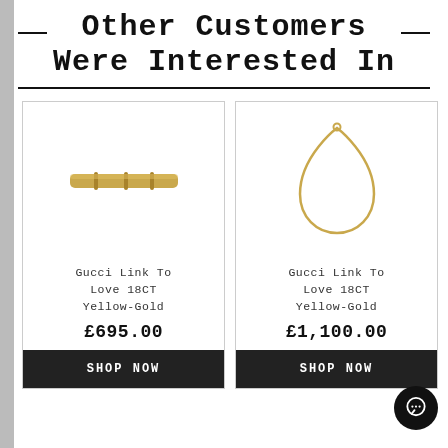Other Customers Were Interested In
[Figure (photo): Gucci Link To Love 18CT Yellow-Gold ring/bar — small gold bar shaped jewelry piece]
Gucci Link To Love 18CT Yellow-Gold
£695.00
SHOP NOW
[Figure (photo): Gucci Link To Love 18CT Yellow-Gold — teardrop/pear shaped gold wire necklace pendant]
Gucci Link To Love 18CT Yellow-Gold
£1,100.00
SHOP NOW